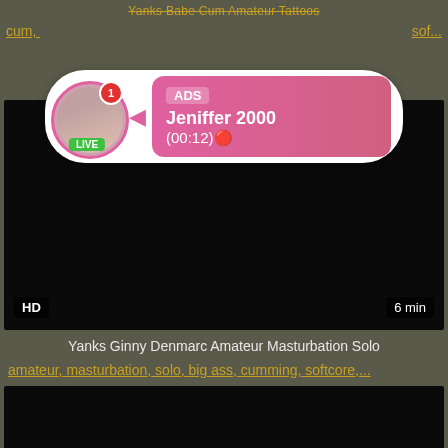Yanks Babe Cum Amateur Tattoos
cum, ... sof...
[Figure (other): Advertisement overlay with avatar, LIVE badge, notification, ADS label, username Jeniffer 2000, time (00:12)]
[Figure (other): Dark video thumbnail with HD badge and 6 min duration label]
Yanks Ginny Denmarc Amateur Masturbation Solo
amateur, masturbation, solo, big ass, cumming, softcore,...
[Figure (other): Dark video thumbnail partially visible at bottom]